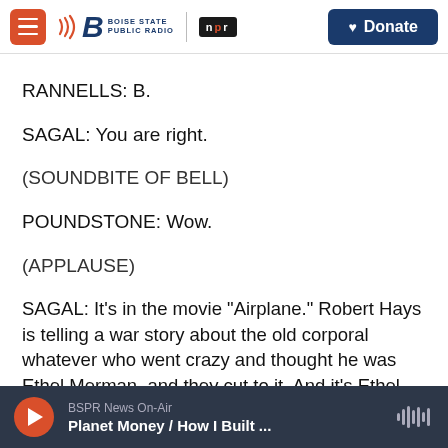Boise State Public Radio | NPR | Donate
RANNELLS: B.
SAGAL: You are right.
(SOUNDBITE OF BELL)
POUNDSTONE: Wow.
(APPLAUSE)
SAGAL: It's in the movie "Airplane." Robert Hays is telling a war story about the old corporal whatever who went crazy and thought he was Ethel Merman, and they cut to it. And it's Ethel Merman.
BSPR News On-Air | Planet Money / How I Built ...